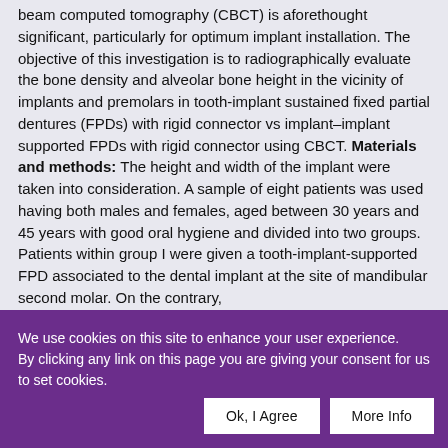beam computed tomography (CBCT) is aforethought significant, particularly for optimum implant installation. The objective of this investigation is to radiographically evaluate the bone density and alveolar bone height in the vicinity of implants and premolars in tooth-implant sustained fixed partial dentures (FPDs) with rigid connector vs implant–implant supported FPDs with rigid connector using CBCT. Materials and methods: The height and width of the implant were taken into consideration. A sample of eight patients was used having both males and females, aged between 30 years and 45 years with good oral hygiene and divided into two groups. Patients within group I were given a tooth-implant-supported FPD associated to the dental implant at the site of mandibular second molar. On the contrary,
We use cookies on this site to enhance your user experience. By clicking any link on this page you are giving your consent for us to set cookies.